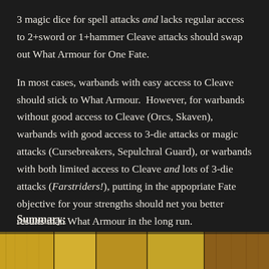3 magic dice for spell attacks and lacks regular access to 2+sword or 1+hammer Cleave attacks should swap out What Armour for One Fate.
In most cases, warbands with easy access to Cleave should stick to What Armour.  However, for warbands without good access to Cleave (Orcs, Skaven), warbands with good access to 3-die attacks or magic attacks (Cursebreakers, Sepulchral Guard), or warbands with both limited access to Cleave and lots of 3-die attacks (Farstriders!), putting in the appopriate Fate objective for your strengths should net you better results than What Armour in the long run.
Summary:
[Figure (photo): Wood grain texture strips at the bottom of the page, showing yellow, tan, and brown wood planks]